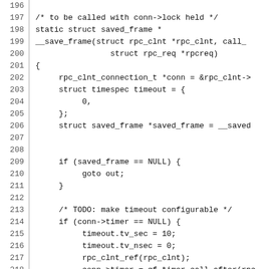[Figure (screenshot): Source code listing in C, lines 197–226, showing a static function __save_frame that acquires a saved frame with timeout and timer logic.]